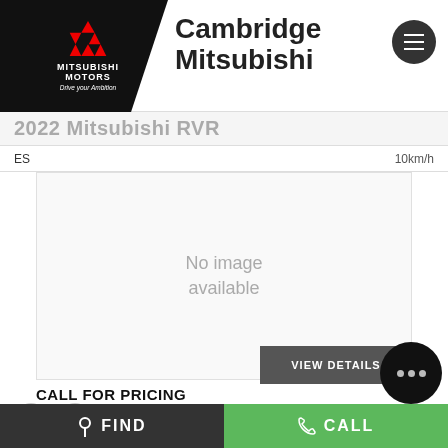[Figure (logo): Cambridge Mitsubishi dealer header with Mitsubishi Motors logo on black diagonal background and dealership name]
2022 Mitsubishi RVR
ES	10km/h
[Figure (photo): No image available placeholder for vehicle listing]
VIEW DETAILS
CALL FOR PRICING
[Figure (infographic): Social media icons: Facebook and YouTube]
FIND  CALL